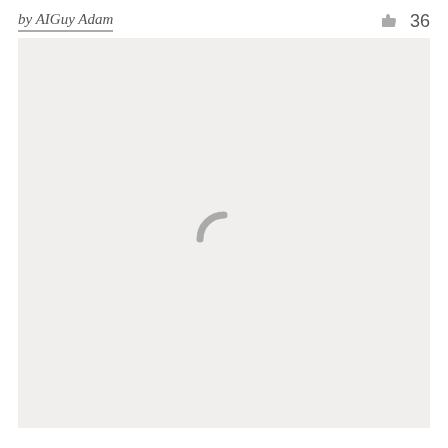by AIGuy Adam  👍 36
[Figure (screenshot): A large light gray content area with a loading spinner icon (arc/open circle) centered in the middle, indicating content is loading.]